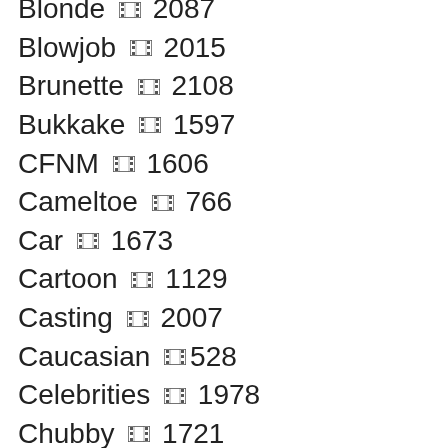Blonde 🎞 2087
Blowjob 🎞 2015
Brunette 🎞 2108
Bukkake 🎞 1597
CFNM 🎞 1606
Cameltoe 🎞 766
Car 🎞 1673
Cartoon 🎞 1129
Casting 🎞 2007
Caucasian 🎞 528
Celebrities 🎞 1978
Chubby 🎞 1721
Close Up 🎞 2002
College 🎞 2000
Compilation 🎞 2086
Couple 🎞 2118
Creampie 🎞 2004
Crossdresser 🎞 795